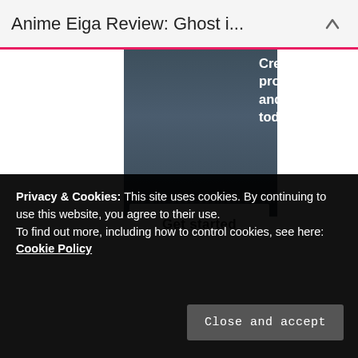Anime Eiga Review: Ghost i...
[Figure (screenshot): Dark bluish-gray promotional banner with text 'Create a professional website and start blogging today' and a white 'Get started' button]
Create a professional website and start blogging today
Get started
Privacy & Cookies: This site uses cookies. By continuing to use this website, you agree to their use.
To find out more, including how to control cookies, see here: Cookie Policy
Close and accept